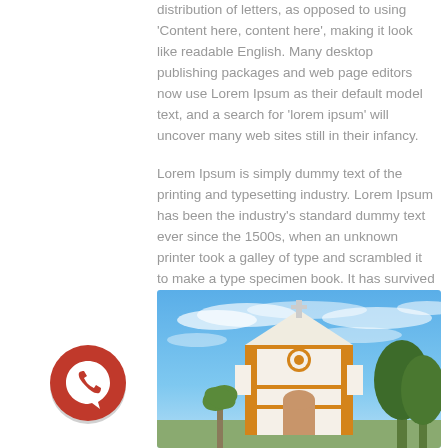distribution of letters, as opposed to using 'Content here, content here', making it look like readable English. Many desktop publishing packages and web page editors now use Lorem Ipsum as their default model text, and a search for 'lorem ipsum' will uncover many web sites still in their infancy.

Lorem Ipsum is simply dummy text of the printing and typesetting industry. Lorem Ipsum has been the industry's standard dummy text ever since the 1500s, when an unknown printer took a galley of type and scrambled it to make a type specimen book. It has survived not only five centuries, but also the leap into electronic typesetting, remaining essentially unchanged.
[Figure (photo): Photo of a white and orange church building with a blue sky and clouds in the background, with trees visible on the right side.]